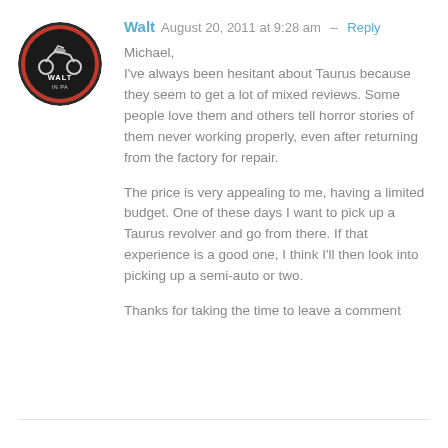[Figure (logo): Circular avatar badge with motorcycle graphic and 'WALT IN PA' text on red/black background]
Walt  August 20, 2011 at 9:28 am  –  Reply
Michael,
I've always been hesitant about Taurus because they seem to get a lot of mixed reviews. Some people love them and others tell horror stories of them never working properly, even after returning from the factory for repair.

The price is very appealing to me, having a limited budget. One of these days I want to pick up a Taurus revolver and go from there. If that experience is a good one, I think I'll then look into picking up a semi-auto or two.

Thanks for taking the time to leave a comment